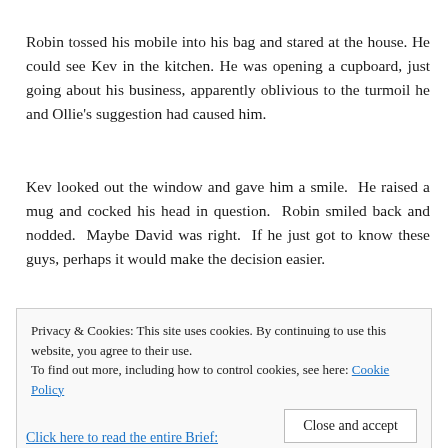Robin tossed his mobile into his bag and stared at the house. He could see Kev in the kitchen. He was opening a cupboard, just going about his business, apparently oblivious to the turmoil he and Ollie's suggestion had caused him.
Kev looked out the window and gave him a smile.  He raised a mug and cocked his head in question.  Robin smiled back and nodded.  Maybe David was right.  If he just got to know these guys, perhaps it would make the decision easier.
Privacy & Cookies: This site uses cookies. By continuing to use this website, you agree to their use.
To find out more, including how to control cookies, see here: Cookie Policy
Close and accept
Click here to read the entire Brief: